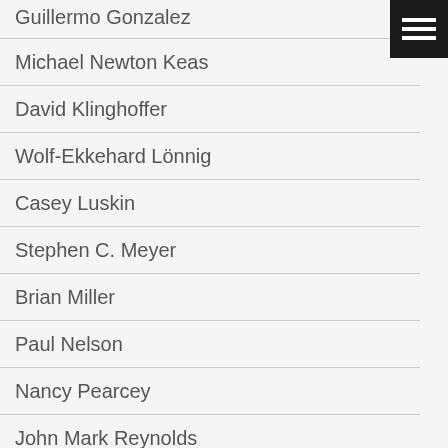Guillermo Gonzalez
Michael Newton Keas
David Klinghoffer
Wolf-Ekkehard Lönnig
Casey Luskin
Stephen C. Meyer
Brian Miller
Paul Nelson
Nancy Pearcey
John Mark Reynolds
Jay W. Richards